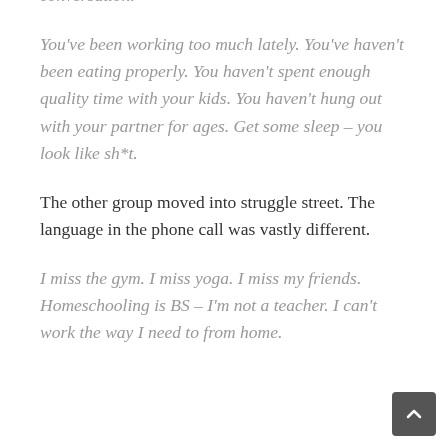conversation.
You've been working too much lately. You've haven't been eating properly. You haven't spent enough quality time with your kids. You haven't hung out with your partner for ages. Get some sleep – you look like sh*t.
The other group moved into struggle street. The language in the phone call was vastly different.
I miss the gym. I miss yoga. I miss my friends. Homeschooling is BS – I'm not a teacher. I can't work the way I need to from home.